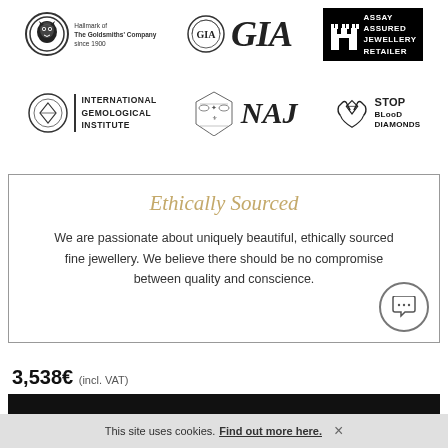[Figure (logo): Goldsmith Hallmark logo - leopard head in circle with text 'Hallmark of The Goldsmiths' Company since 1900']
[Figure (logo): GIA logo - badge seal with GIA text in large italic serif font]
[Figure (logo): Assay Assured Jewellery Retailer logo - black background with castle icon and white text]
[Figure (logo): International Gemological Institute - circle emblem with IGI text divided by vertical line]
[Figure (logo): NAJ logo - heraldic crest with NAJ in large italic serif font]
[Figure (logo): Stop Blood Diamonds logo - hands holding diamond shape with stylized text]
Ethically Sourced
We are passionate about uniquely beautiful, ethically sourced fine jewellery. We believe there should be no compromise between quality and conscience.
3,538€ (incl. VAT)
This site uses cookies. Find out more here.